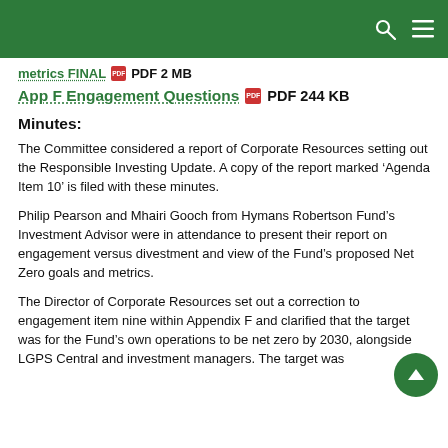metrics FINAL  PDF 2 MB
App F Engagement Questions  PDF 244 KB
Minutes:
The Committee considered a report of Corporate Resources setting out the Responsible Investing Update. A copy of the report marked ‘Agenda Item 10’ is filed with these minutes.
Philip Pearson and Mhairi Gooch from Hymans Robertson Fund’s Investment Advisor were in attendance to present their report on engagement versus divestment and view of the Fund's proposed Net Zero goals and metrics.
The Director of Corporate Resources set out a correction to engagement item nine within Appendix F and clarified that the target was for the Fund’s own operations to be net zero by 2030, alongside LGPS Central and investment managers. The target was